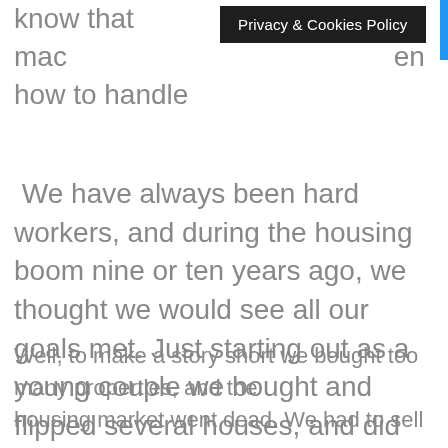know that mac  how to handle
Privacy & Cookies Policy
We have always been hard workers, and during the housing boom nine or ten years ago, we thought we would see all our goals met. Just starting out as a young couple we bought and flipped several houses, and did very well at it.
Well, to make a story short we bought too many properties, and the housing market went dead. We had to sell